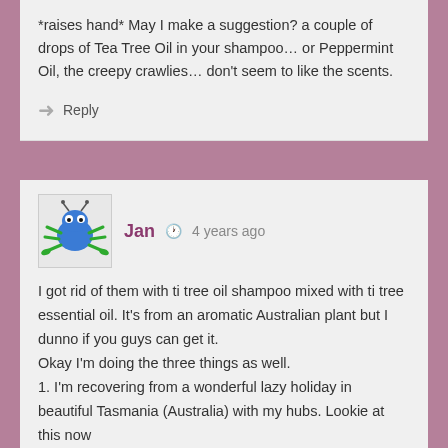*raises hand* May I make a suggestion? a couple of drops of Tea Tree Oil in your shampoo… or Peppermint Oil, the creepy crawlies… don't seem to like the scents.
Reply
[Figure (illustration): Cartoon avatar of a blue bug/creature with green legs on a white/gray square background]
Jan  4 years ago
I got rid of them with ti tree oil shampoo mixed with ti tree essential oil. It's from an aromatic Australian plant but I dunno if you guys can get it.
Okay I'm doing the three things as well.
1. I'm recovering from a wonderful lazy holiday in beautiful Tasmania (Australia) with my hubs. Lookie at this now https://www.telegraph.co.uk/travel/destinations/oceania/australia/tasmania/articles/tasmania-beaches/ We went all over and had a great trip. But now it's back home to all the usual washing sweeping etc 🙂
2. It's nearly summer here and the weather is hotting up.